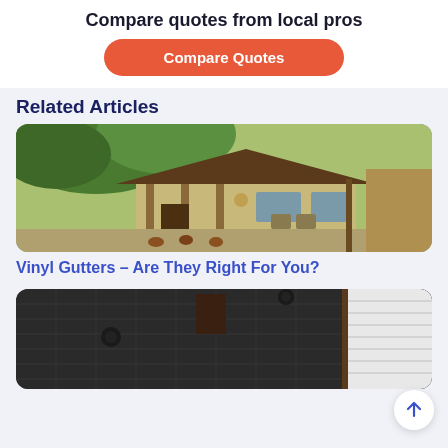Compare quotes from local pros
Compare Quotes
Related Articles
[Figure (photo): A house with a covered porch, gutters visible, surrounded by trees]
Vinyl Gutters – Are They Right For You?
[Figure (photo): A dark roof with rubber or textured material, a chimney, and white siding visible]